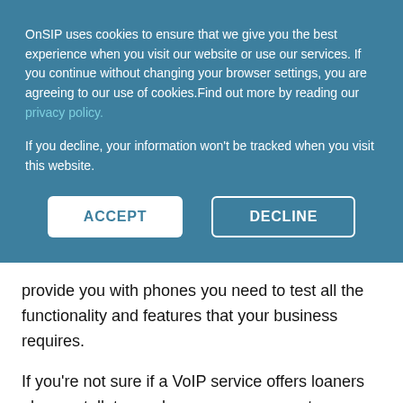OnSIP uses cookies to ensure that we give you the best experience when you visit our website or use our services. If you continue without changing your browser settings, you are agreeing to our use of cookies.Find out more by reading our privacy policy.
If you decline, your information won't be tracked when you visit this website.
ACCEPT
DECLINE
provide you with phones you need to test all the functionality and features that your business requires.
If you're not sure if a VoIP service offers loaners phones, talk to a salesperson or account manager. They will typically have a range of models that are popular among customers and suitable for your particular situation. Some VoIP providers also sell IP